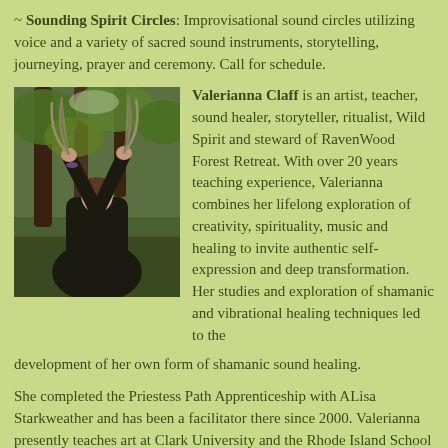~ Sounding Spirit Circles: Improvisational sound circles utilizing voice and a variety of sacred sound instruments, storytelling, journeying, prayer and ceremony. Call for schedule.
[Figure (photo): Woman in dark robe holding large feathers up toward the sky in a forest setting]
Valerianna Claff is an artist, teacher, sound healer, storyteller, ritualist, Wild Spirit and steward of RavenWood Forest Retreat. With over 20 years teaching experience, Valerianna combines her lifelong exploration of creativity, spirituality, music and healing to invite authentic self-expression and deep transformation. Her studies and exploration of shamanic and vibrational healing techniques led to the development of her own form of shamanic sound healing.
She completed the Priestess Path Apprenticeship with ALisa Starkweather and has been a facilitator there since 2000. Valerianna presently teaches art at Clark University and the Rhode Island School of Design. She gardens, creates art in her studio and